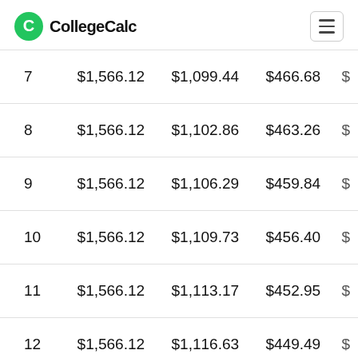CollegeCalc
| # | Payment | Principal | Interest | Balance |
| --- | --- | --- | --- | --- |
| 7 | $1,566.12 | $1,099.44 | $466.68 | $... |
| 8 | $1,566.12 | $1,102.86 | $463.26 | $... |
| 9 | $1,566.12 | $1,106.29 | $459.84 | $... |
| 10 | $1,566.12 | $1,109.73 | $456.40 | $... |
| 11 | $1,566.12 | $1,113.17 | $452.95 | $... |
| 12 | $1,566.12 | $1,116.63 | $449.49 | $... |